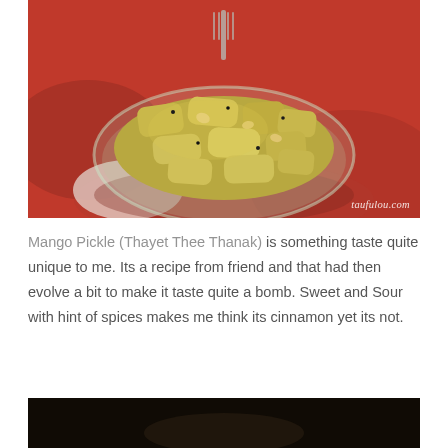[Figure (photo): Close-up photo of Mango Pickle (Thayet Thee Thanak) served in a glass bowl on a red cloth background. The pickle consists of chunky mango pieces with peanuts in a yellowish-green sauce. A fork is visible at the top. Watermark reads 'taufulou.com' in the bottom right.]
Mango Pickle (Thayet Thee Thanak) is something taste quite unique to me. Its a recipe from friend and that had then evolve a bit to make it taste quite a bomb. Sweet and Sour with hint of spices makes me think its cinnamon yet its not.
[Figure (photo): Partially visible dark photo at the bottom of the page, cropped.]